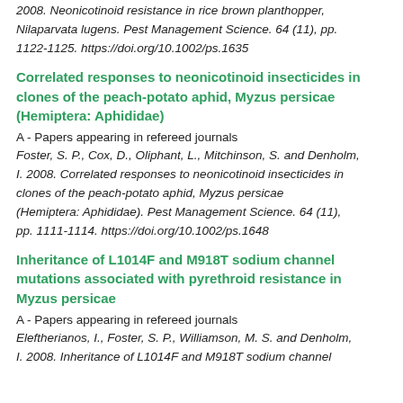2008. Neonicotinoid resistance in rice brown planthopper, Nilaparvata lugens. Pest Management Science. 64 (11), pp. 1122-1125. https://doi.org/10.1002/ps.1635
Correlated responses to neonicotinoid insecticides in clones of the peach-potato aphid, Myzus persicae (Hemiptera: Aphididae)
A - Papers appearing in refereed journals
Foster, S. P., Cox, D., Oliphant, L., Mitchinson, S. and Denholm, I. 2008. Correlated responses to neonicotinoid insecticides in clones of the peach-potato aphid, Myzus persicae (Hemiptera: Aphididae). Pest Management Science. 64 (11), pp. 1111-1114. https://doi.org/10.1002/ps.1648
Inheritance of L1014F and M918T sodium channel mutations associated with pyrethroid resistance in Myzus persicae
A - Papers appearing in refereed journals
Eleftherianos, I., Foster, S. P., Williamson, M. S. and Denholm, I. 2008. Inheritance of L1014F and M918T sodium channel